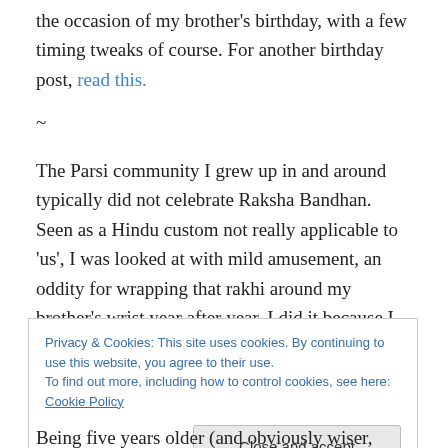the occasion of my brother's birthday, with a few timing tweaks of course. For another birthday post, read this.
~
The Parsi community I grew up in and around typically did not celebrate Raksha Bandhan. Seen as a Hindu custom not really applicable to 'us', I was looked at with mild amusement, an oddity for wrapping that rakhi around my brother's wrist year after year. I did it because I liked the sentiment of sibling bonds. In return, I received an occasional cassette (remember those?) of whomever I
Privacy & Cookies: This site uses cookies. By continuing to use this website, you agree to their use.
To find out more, including how to control cookies, see here: Cookie Policy
Close and accept
Being five years older (and obviously wiser, more brilliant